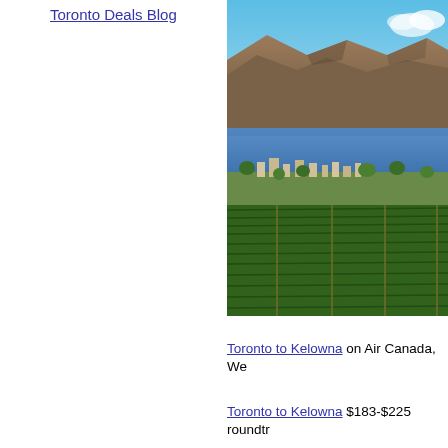Toronto Deals Blog
[Figure (photo): Aerial view of Kelowna, BC showing vineyards in the foreground, the city in the middle ground, Okanagan Lake, and mountains in the background under a clear blue sky.]
Toronto to Kelowna on Air Canada, We
Toronto to Kelowna $183-$225 roundtr